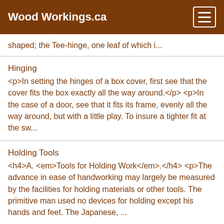Wood Workings.ca
shaped; the Tee-hinge, one leaf of which i...
Hinging
<p>In setting the hinges of a box cover, first see that the cover fits the box exactly all the way around.</p>
<p>In the case of a door, see that it fits its frame, evenly all the way around, but with a little play. To insure a tighter fit at the sw...
Holding Tools
<h4>A. <em>Tools for Holding Work</em>.</h4>
<p>The advance in ease of handworking may largely be measured by the facilities for holding materials or other tools. The primitive man used no devices for holding except his hands and feet. The Japanese, ...
Inserting Locks
<p>To insert a <em>rim-lock</em>, measure the